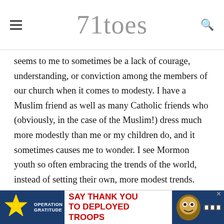71toes
seems to me to sometimes be a lack of courage, understanding, or conviction among the members of our church when it comes to modesty. I have a Muslim friend as well as many Catholic friends who (obviously, in the case of the Muslim!) dress much more modestly than me or my children do, and it sometimes causes me to wonder. I see Mormon youth so often embracing the trends of the world, instead of setting their own, more modest trends.
Do you believe it is possible to have high standards of modesty as a family without being legalistic and pushing our youngsters away? My kids aren't teenagers yet, so I am asking this question in all earnestness. In my own, idealistic way, I want to
[Figure (screenshot): Advertisement banner: Operation Gratitude - Say Thank You To Deployed Troops, with American flag and cartoon owl graphic, close button visible]